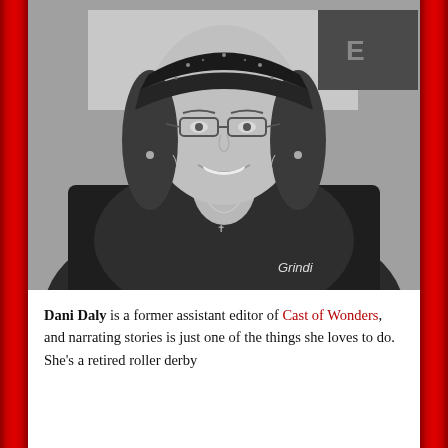[Figure (photo): Black and white portrait photo of a smiling woman wearing glasses, a patterned dark headscarf, dark jacket and top with 'Grindi' text visible. She has curly brown hair and a necklace.]
Dani Daly is a former assistant editor of Cast of Wonders, and narrating stories is just one of the things she loves to do. She’s a retired roller derby